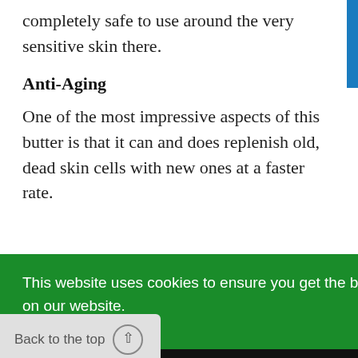completely safe to use around the very sensitive skin there.
Anti-Aging
One of the most impressive aspects of this butter is that it can and does replenish old, dead skin cells with new ones at a faster rate.
hey can age. in the gank that weighs it down. This helps to
This website uses cookies to ensure you get the best experience on our website.
Learn More
Got it!
Back to the top